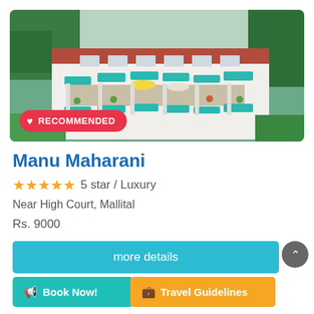[Figure (photo): Aerial view of Manu Maharani hotel building with white facade, teal/turquoise awnings, terraced levels with outdoor seating, surrounded by green trees and lawn. A RECOMMENDED badge with heart icon is overlaid at the bottom left of the image.]
Manu Maharani
★★★★★ 5 star / Luxury
Near High Court, Mallital
Rs. 9000
more details
Book Now!
Travel Guidelines